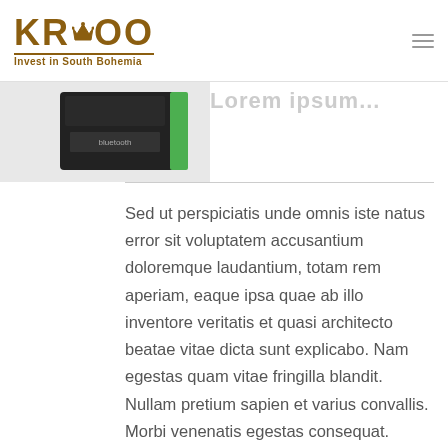KROO — Invest in South Bohemia
[Figure (photo): Partial product image of a dark box with green accent against white background]
Lorem ipsum (partially visible, greyed out)
Sed ut perspiciatis unde omnis iste natus error sit voluptatem accusantium doloremque laudantium, totam rem aperiam, eaque ipsa quae ab illo inventore veritatis et quasi architecto beatae vitae dicta sunt explicabo. Nam egestas quam vitae fringilla blandit. Nullam pretium sapien et varius convallis. Morbi venenatis egestas consequat. Nemo enim ipsam voluptatem quia voluptas sit